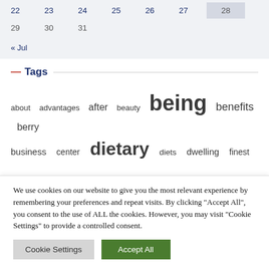| 22 | 23 | 24 | 25 | 26 | 27 | 28 |
| 29 | 30 | 31 |  |  |  |  |
« Jul
— Tags
about  advantages  after  beauty  being  benefits  berry  business  center  dietary  diets  dwelling  finest
We use cookies on our website to give you the most relevant experience by remembering your preferences and repeat visits. By clicking "Accept All", you consent to the use of ALL the cookies. However, you may visit "Cookie Settings" to provide a controlled consent.